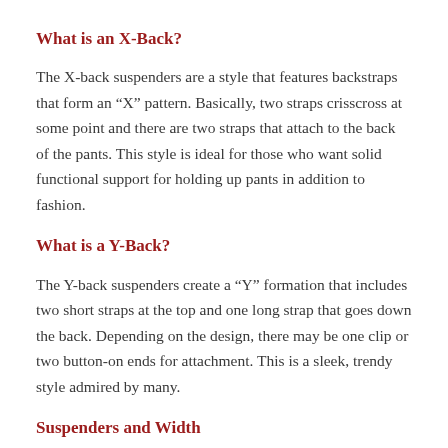What is an X-Back?
The X-back suspenders are a style that features backstraps that form an “X” pattern. Basically, two straps crisscross at some point and there are two straps that attach to the back of the pants. This style is ideal for those who want solid functional support for holding up pants in addition to fashion.
What is a Y-Back?
The Y-back suspenders create a “Y” formation that includes two short straps at the top and one long strap that goes down the back. Depending on the design, there may be one clip or two button-on ends for attachment. This is a sleek, trendy style admired by many.
Suspenders and Width